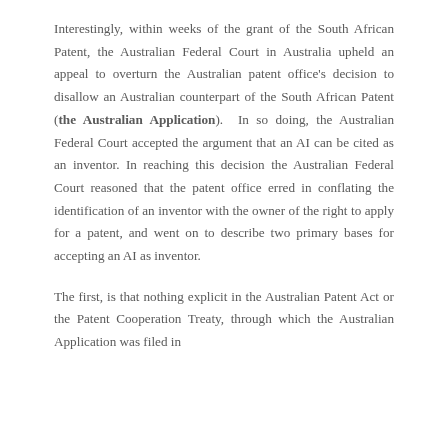Interestingly, within weeks of the grant of the South African Patent, the Australian Federal Court in Australia upheld an appeal to overturn the Australian patent office's decision to disallow an Australian counterpart of the South African Patent (the Australian Application). In so doing, the Australian Federal Court accepted the argument that an AI can be cited as an inventor. In reaching this decision the Australian Federal Court reasoned that the patent office erred in conflating the identification of an inventor with the owner of the right to apply for a patent, and went on to describe two primary bases for accepting an AI as inventor.
The first, is that nothing explicit in the Australian Patent Act or the Patent Cooperation Treaty, through which the Australian Application was filed in